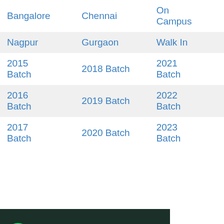| Col1 | Col2 | Col3 |
| --- | --- | --- |
| Bangalore | Chennai | On Campus |
| Nagpur | Gurgaon | Walk In |
| 2015 Batch | 2018 Batch | 2021 Batch |
| 2016 Batch | 2019 Batch | 2022 Batch |
| 2017 Batch | 2020 Batch | 2023 Batch |
[Figure (infographic): WhatsApp group join banner with green icon, text 'Join our WhatsApp Group' and a 'JOIN NOW' button]
Requirements:
Graduate/Post Graduate degree in Computer Science or